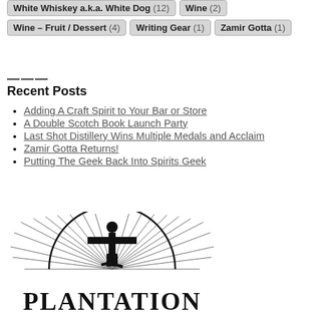White Whiskey a.k.a. White Dog (12)
Wine (2)
Wine – Fruit / Dessert (4)
Writing Gear (1)
Zamir Gotta (1)
——— Recent Posts
Adding A Craft Spirit to Your Bar or Store
A Double Scotch Book Launch Party
Last Shot Distillery Wins Multiple Medals and Acclaim
Zamir Gotta Returns!
Putting The Geek Back Into Spirits Geek
[Figure (logo): Plantation rum logo with a stylized figure with outstretched arms standing on a half-circle with radiating lines, above the word PLANTATION in large serif capitals]